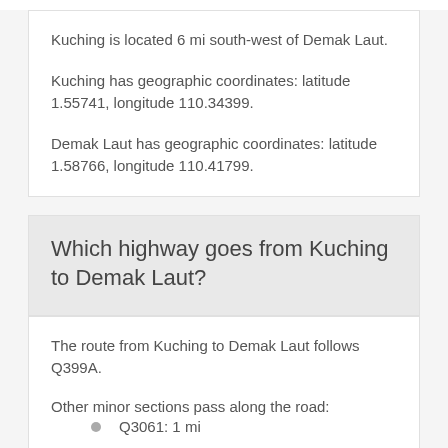Kuching is located 6 mi south-west of Demak Laut.

Kuching has geographic coordinates: latitude 1.55741, longitude 110.34399.

Demak Laut has geographic coordinates: latitude 1.58766, longitude 110.41799.
Which highway goes from Kuching to Demak Laut?
The route from Kuching to Demak Laut follows Q399A.

Other minor sections pass along the road:
Q3061: 1 mi
The distance between Kuching and Demak Laut is ranked 433rd in the ranking popu...